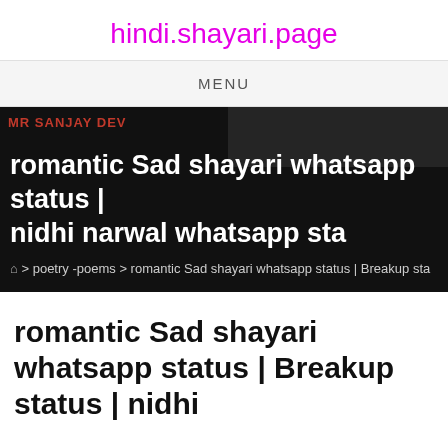hindi.shayari.page
MENU
[Figure (screenshot): Dark hero banner with red label 'MR SANJAY DEV' and white bold title 'romantic Sad shayari whatsapp status | nidhi narwal whatsapp sta' with breadcrumb navigation below]
romantic Sad shayari whatsapp status | Breakup status | nidhi